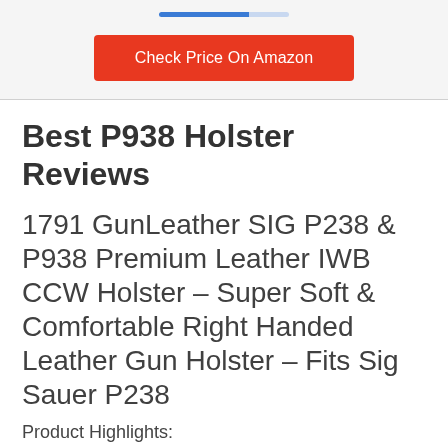[Figure (other): Progress bar with blue filled portion and lighter blue empty portion]
Check Price On Amazon
Best P938 Holster Reviews
1791 GunLeather SIG P238 & P938 Premium Leather IWB CCW Holster – Super Soft & Comfortable Right Handed Leather Gun Holster – Fits Sig Sauer P238
Product Highlights: